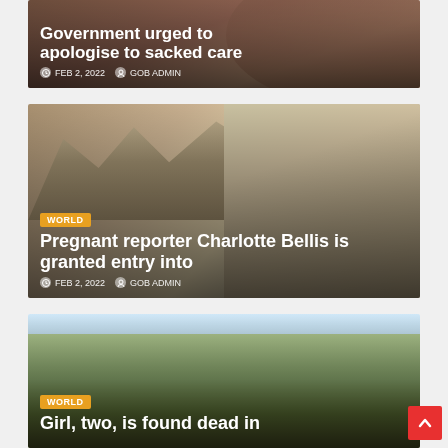[Figure (photo): News article card showing partial headline about government urged to apologise to sacked care workers, with a face partially visible, dated FEB 2, 2022 by GOB ADMIN]
[Figure (photo): News article card with WORLD badge showing headline 'Pregnant reporter Charlotte Bellis is granted entry into' with woman's portrait and mountain town in background, dated FEB 2, 2022 by GOB ADMIN]
[Figure (photo): News article card with WORLD badge showing headline 'Girl, two, is found dead in' with street scene in background]